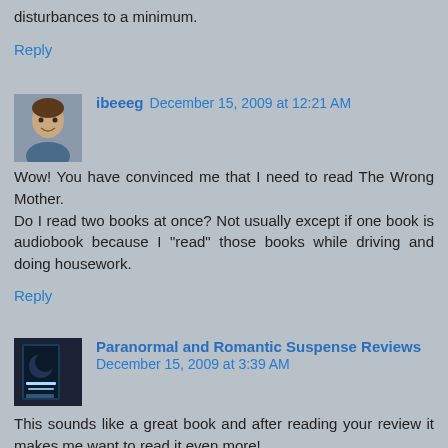disturbances to a minimum.
Reply
ibeeeg  December 15, 2009 at 12:21 AM
Wow! You have convinced me that I need to read The Wrong Mother.
Do I read two books at once? Not usually except if one book is audiobook because I "read" those books while driving and doing housework.
Reply
Paranormal and Romantic Suspense Reviews  December 15, 2009 at 3:39 AM
This sounds like a great book and after reading your review it makes me want to read it even more!
Reply